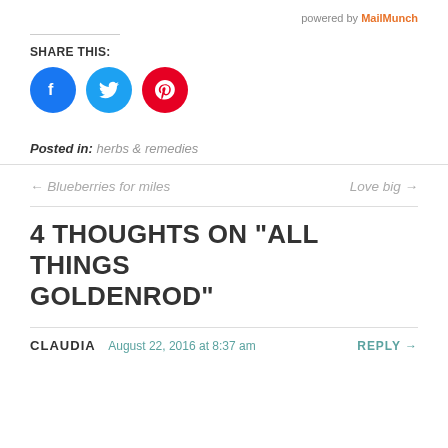powered by MailMunch
SHARE THIS:
[Figure (other): Social sharing icons: Facebook (blue circle), Twitter (light blue circle), Pinterest (red circle)]
Posted in: herbs & remedies
← Blueberries for miles
Love big →
4 THOUGHTS ON "ALL THINGS GOLDENROD"
CLAUDIA  August 22, 2016 at 8:37 am  REPLY →